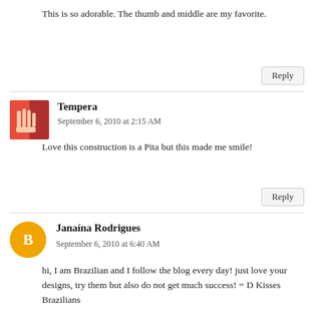This is so adorable. The thumb and middle are my favorite.
Reply
Tempera
September 6, 2010 at 2:15 AM
Love this construction is a Pita but this made me smile!
Reply
Janaína Rodrigues
September 6, 2010 at 6:40 AM
hi, I am Brazilian and I follow the blog every day! just love your designs, try them but also do not get much success! = D Kisses Brazilians